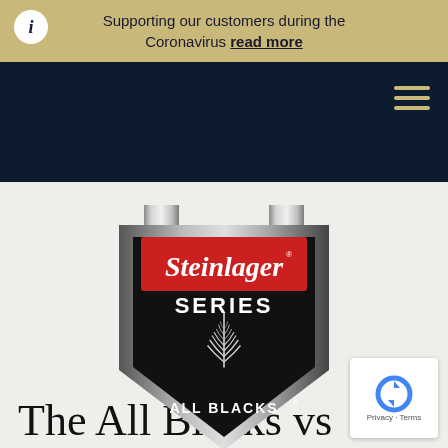Supporting our customers during the Coronavirus read more
[Figure (logo): Steinlager Series All Blacks shield logo — a heraldic shield shape with silver metallic border, black background, red banner at top reading 'Steinlager' in white script lettering with registered trademark symbol, white bold text 'SERIES' below, a silver fern leaf icon in the center, and 'ALL BLACKS' text at the bottom with registered trademark symbol.]
The All Blacks vs